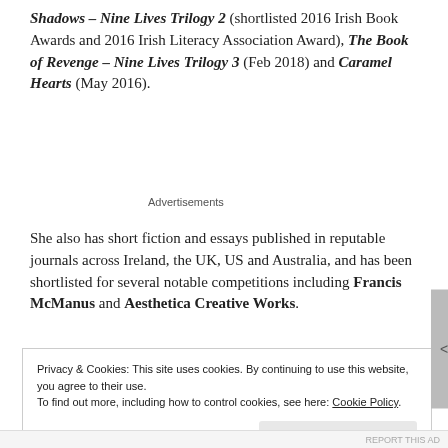Shadows – Nine Lives Trilogy 2 (shortlisted 2016 Irish Book Awards and 2016 Irish Literacy Association Award), The Book of Revenge – Nine Lives Trilogy 3 (Feb 2018) and Caramel Hearts (May 2016).
Advertisements
She also has short fiction and essays published in reputable journals across Ireland, the UK, US and Australia, and has been shortlisted for several notable competitions including Francis McManus and Aesthetica Creative Works.
Privacy & Cookies: This site uses cookies. By continuing to use this website, you agree to their use.
To find out more, including how to control cookies, see here: Cookie Policy
Close and accept